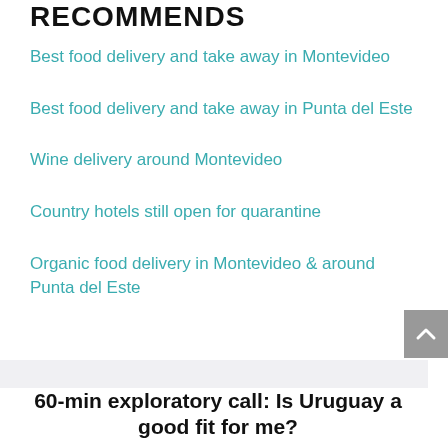RECOMMENDS
Best food delivery and take away in Montevideo
Best food delivery and take away in Punta del Este
Wine delivery around Montevideo
Country hotels still open for quarantine
Organic food delivery in Montevideo & around Punta del Este
60-min exploratory call: Is Uruguay a good fit for me?
A sixty-minute online exploratory call with